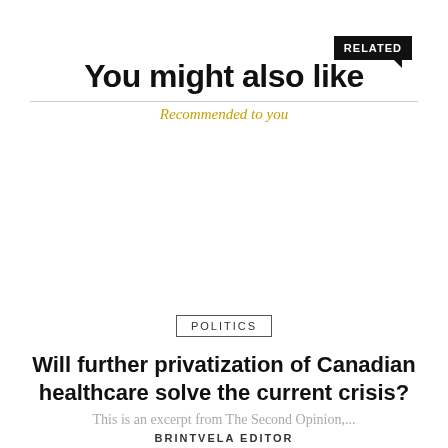RELATED
You might also like
Recommended to you
POLITICS
Will further privatization of Canadian healthcare solve the current crisis?
This is an excerpt from The Second Opinion,...
BRINTVELA EDITOR